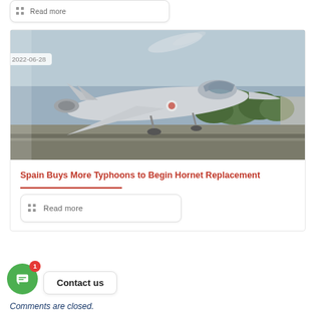[Figure (other): Read more button with grid dots icon at top of page]
[Figure (photo): Military fighter jet (Eurofighter Typhoon) taxiing on runway, gray aircraft, trees and sky in background]
2022-06-28
Spain Buys More Typhoons to Begin Hornet Replacement
[Figure (other): Read more button with grid dots icon below article title]
[Figure (other): Chat/Contact us widget with green bubble icon and notification badge showing 1]
Comments are closed.